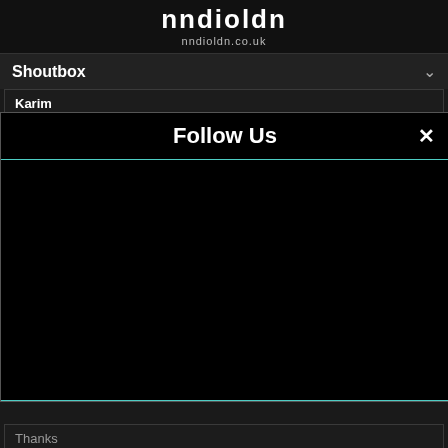nndioldn
nndioldn.co.uk
Shoutbox
Karim
(Monday, Apr 11 2022 09:20 AM)
Hi guys we hope you doing well to be great to participate in your
Follow Us
Thanks
[reply]
Felix
(Thursday, Apr 21 2022 04:27 PM)
For Massimiliano – For Massimiliano –
[reply]